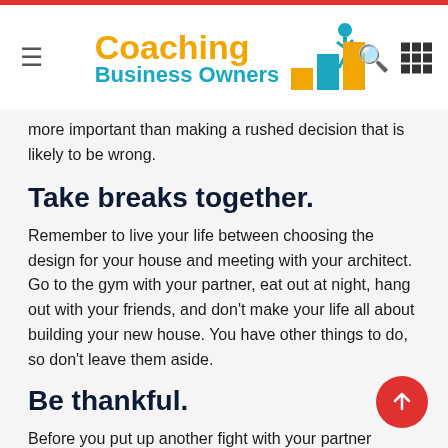Coaching Business Owners
more important than making a rushed decision that is likely to be wrong.
Take breaks together.
Remember to live your life between choosing the design for your house and meeting with your architect. Go to the gym with your partner, eat out at night, hang out with your friends, and don't make your life all about building your new house. You have other things to do, so don't leave them aside.
Be thankful.
Before you put up another fight with your partner regarding the color of curtains in your future bedroom, thank them for the enormous effort they put into creating your new home. Being